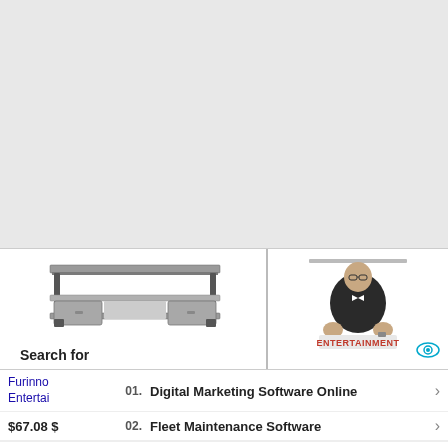[Figure (photo): Gray area / blank upper portion of page representing a web page background]
[Figure (photo): TV stand / entertainment center furniture product image in gray wood finish with open shelves and side cabinets]
Search for
[Figure (photo): Movie poster for 'Entertainment' showing a man in suit with the text ENTERTAINMENT]
Furinno Entertai
01. Digital Marketing Software Online
02. Fleet Maintenance Software
$67.08 $
Yahoo! Search | Sponsored